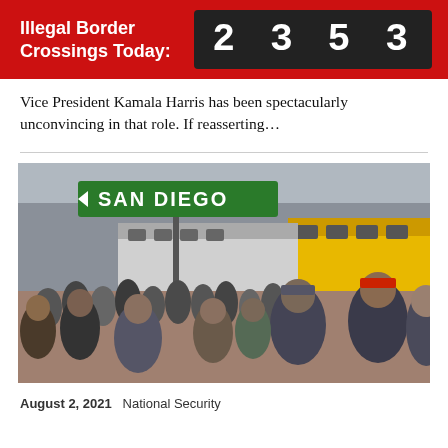Illegal Border Crossings Today: 2353
Vice President Kamala Harris has been spectacularly unconvincing in that role. If reasserting...
[Figure (photo): Crowd of migrants on a street near a San Diego sign, with yellow school buses in the background]
August 2, 2021  National Security